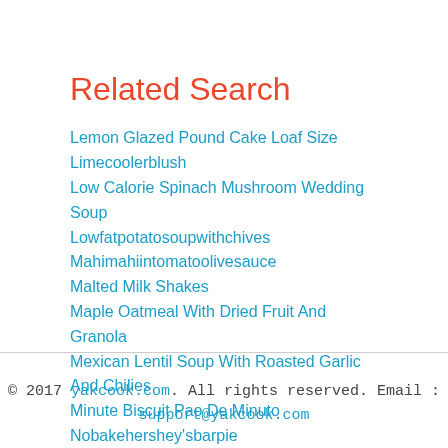Related Search
Lemon Glazed Pound Cake Loaf Size
Limecoolerblush
Low Calorie Spinach Mushroom Wedding Soup
Lowfatpotatosoupwithchives
Mahimahiintomatoolivesauce
Malted Milk Shakes
Maple Oatmeal With Dried Fruit And Granola
Mexican Lentil Soup With Roasted Garlic And Chilies
Minute Biscuit Pao De Minuto
Nobakehershey'sbarpie
Nonna Luna's Rice
Nutmeg Whipped Squash
© 2017 yakcook.com. All rights reserved. Email : support@yakcook.com